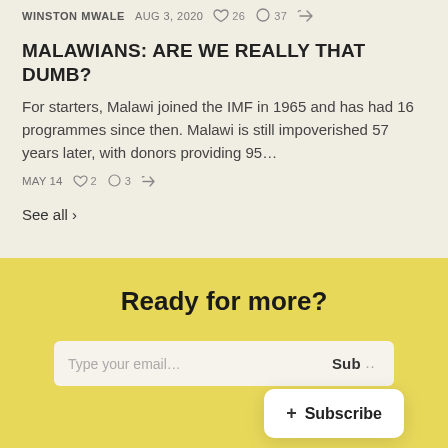WINSTON MWALE   AUG 3, 2020   ♡ 26   ◯ 37   ↪
MALAWIANS: ARE WE REALLY THAT DUMB?
For starters, Malawi joined the IMF in 1965 and has had 16 programmes since then. Malawi is still impoverished 57 years later, with donors providing 95…
MAY 14   ♡ 2   ◯ 3   ↪
See all ›
Ready for more?
Type your email...   Subscribe   + Subscribe